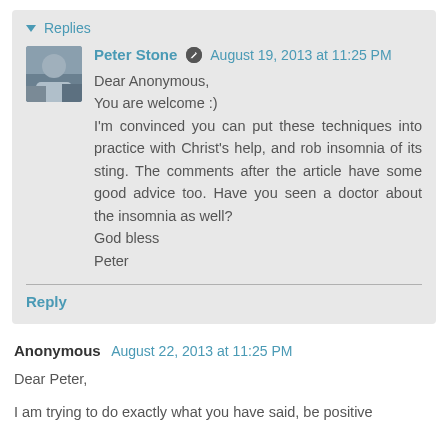Replies
Peter Stone  August 19, 2013 at 11:25 PM
Dear Anonymous,
You are welcome :)
I'm convinced you can put these techniques into practice with Christ's help, and rob insomnia of its sting. The comments after the article have some good advice too. Have you seen a doctor about the insomnia as well?
God bless
Peter
Reply
Anonymous  August 22, 2013 at 11:25 PM
Dear Peter,
I am trying to do exactly what you have said, be positive